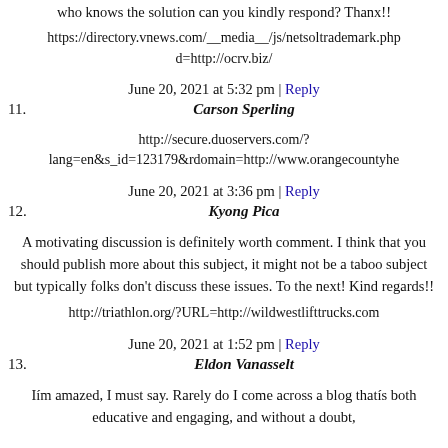who knows the solution can you kindly respond? Thanx!!
https://directory.vnews.com/__media__/js/netsoltrademark.php d=http://ocrv.biz/
June 20, 2021 at 5:32 pm | Reply
11. Carson Sperling
http://secure.duoservers.com/? lang=en&s_id=123179&rdomain=http://www.orangecountyhe
June 20, 2021 at 3:36 pm | Reply
12. Kyong Pica
A motivating discussion is definitely worth comment. I think that you should publish more about this subject, it might not be a taboo subject but typically folks don't discuss these issues. To the next! Kind regards!!
http://triathlon.org/?URL=http://wildwestlifttrucks.com
June 20, 2021 at 1:52 pm | Reply
13. Eldon Vanasselt
Iím amazed, I must say. Rarely do I come across a blog thatís both educative and engaging, and without a doubt,